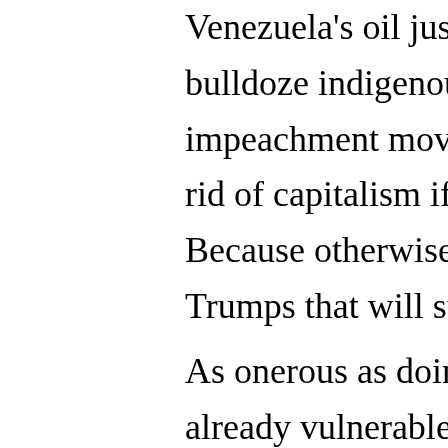Venezuela's oil just as Jair Bolsonaro c bulldoze indigenous lands for industria impeachment movement has it perfectl rid of capitalism if you want to get rid Because otherwise, there is an infinite s Trumps that will support the interests c As onerous as doing so may be— parti already vulnerable, there is no configur political economy that will facilitate a s livable future. Donald Trump and the R